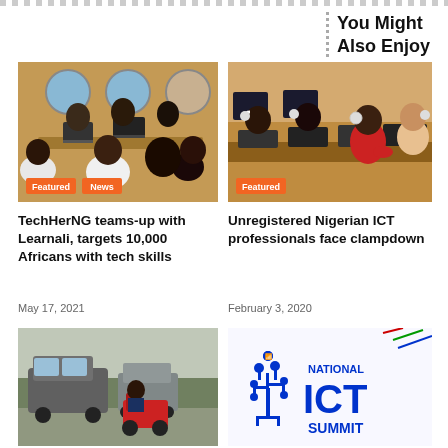You Might Also Enjoy
[Figure (photo): People sitting around a table working on laptops in a room with circular windows; Featured and News badges]
[Figure (photo): Women wearing headphones working at computers in a row; Featured badge]
TechHerNG teams-up with Learnali, targets 10,000 Africans with tech skills
Unregistered Nigerian ICT professionals face clampdown
May 17, 2021
February 3, 2020
[Figure (photo): Street scene with a person riding a red motorized cart among cars]
[Figure (logo): National ICT Summit logo with circuit tree icon in blue]